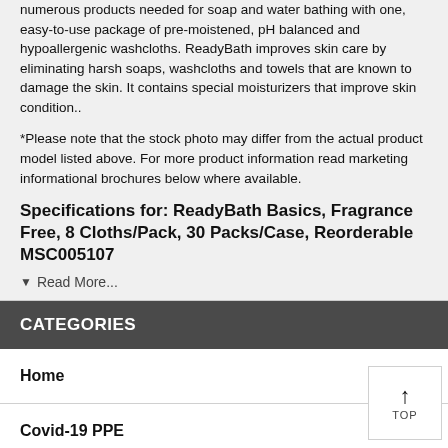numerous products needed for soap and water bathing with one, easy-to-use package of pre-moistened, pH balanced and hypoallergenic washcloths. ReadyBath improves skin care by eliminating harsh soaps, washcloths and towels that are known to damage the skin. It contains special moisturizers that improve skin condition..
*Please note that the stock photo may differ from the actual product model listed above. For more product information read marketing informational brochures below where available.
Specifications for: ReadyBath Basics, Fragrance Free, 8 Cloths/Pack, 30 Packs/Case, Reorderable MSC005107
▼ Read More...
CATEGORIES
Home
Covid-19 PPE